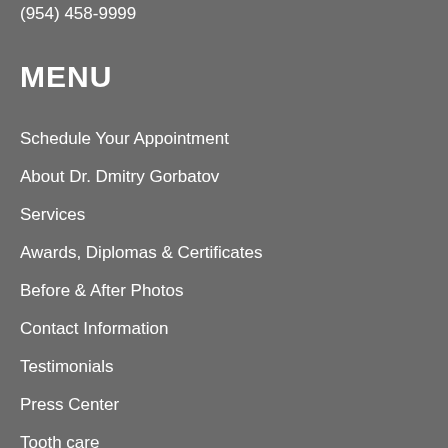(954) 458-9999
MENU
Schedule Your Appointment
About Dr. Dmitry Gorbatov
Services
Awards, Diplomas & Certificates
Before & After Photos
Contact Information
Testimonials
Press Center
Tooth care
Dental Problems Handbook